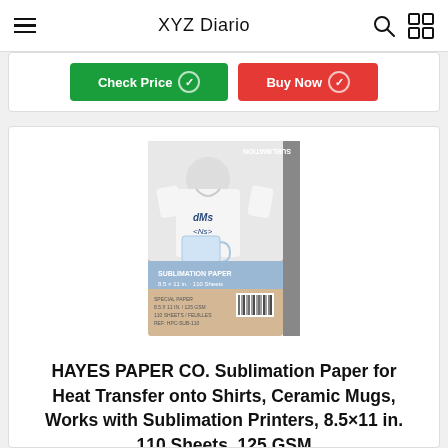XYZ Diario
[Figure (screenshot): Two partially visible buttons: green 'Check Price' button and red 'Buy Now' button with checkmark circle icons]
[Figure (photo): Product package image: HAYES PAPER CO. Sublimation Paper package showing a white t-shirt and mug, with 'SUBLIMATION' text on the side and a barcode]
HAYES PAPER CO. Sublimation Paper for Heat Transfer onto Shirts, Ceramic Mugs, Works with Sublimation Printers, 8.5×11 in. 110 Sheets, 125 GSM
[Figure (infographic): Score circle showing 6.2 rating, dark blue arc on light purple/lavender circle background]